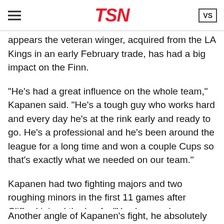TSN
appears the veteran winger, acquired from the LA Kings in an early February trade, has had a big impact on the Finn.
"He's had a great influence on the whole team," Kapanen said. "He's a tough guy who works hard and every day he's at the rink early and ready to go. He's a professional and he's been around the league for a long time and won a couple Cups so that's exactly what we needed on our team."
Kapanen had two fighting majors and two roughing minors in the first 11 games after Clifford joined the Leafs. "You know, when you see a guy play hard and fight every now and then it fires me up for sure so it's been a positive impact for me," the 23-year-old said.
Another angle of Kapanen's fight, he absolutely